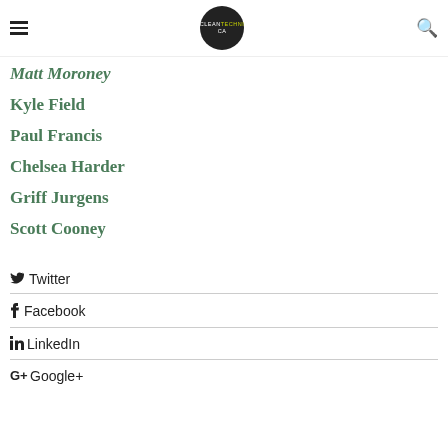CleanTechnica
Matt Moroney
Kyle Field
Paul Francis
Chelsea Harder
Griff Jurgens
Scott Cooney
Twitter
Facebook
LinkedIn
Google+